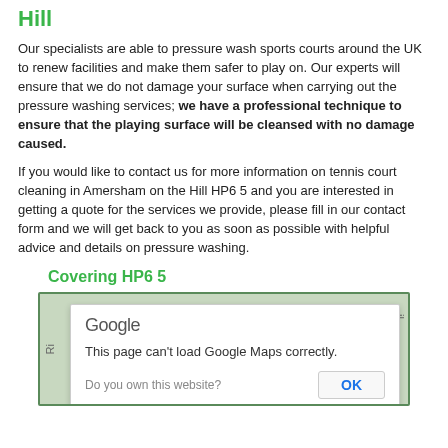Hill
Our specialists are able to pressure wash sports courts around the UK to renew facilities and make them safer to play on. Our experts will ensure that we do not damage your surface when carrying out the pressure washing services; we have a professional technique to ensure that the playing surface will be cleansed with no damage caused.
If you would like to contact us for more information on tennis court cleaning in Amersham on the Hill HP6 5 and you are interested in getting a quote for the services we provide, please fill in our contact form and we will get back to you as soon as possible with helpful advice and details on pressure washing.
Covering HP6 5
[Figure (screenshot): Google Maps error dialog: 'This page can't load Google Maps correctly.' with OK button and 'Do you own this website?' text, overlaid on a partially visible map background.]